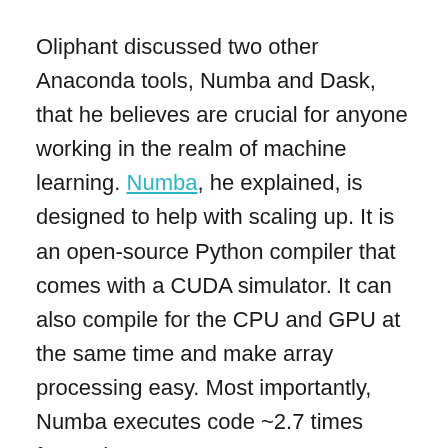Oliphant discussed two other Anaconda tools, Numba and Dask, that he believes are crucial for anyone working in the realm of machine learning. Numba, he explained, is designed to help with scaling up. It is an open-source Python compiler that comes with a CUDA simulator. It can also compile for the CPU and GPU at the same time and make array processing easy. Most importantly, Numba executes code ~2.7 times faster than NumPy.
Dask is a parallel computation library for scaling NumPy arrays and Pandas dataframes. With Dask you can make a collection of arrays or dataframes that are larger-than-memory and can be used in distributed environments. It has a task scheduler that is optimized for computation, helping to run your custom algorithms on distributed nodes. Dask also has